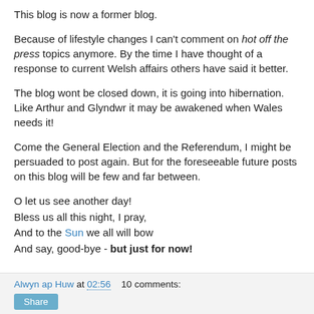This blog is now a former blog.
Because of lifestyle changes I can't comment on hot off the press topics anymore. By the time I have thought of a response to current Welsh affairs others have said it better.
The blog wont be closed down, it is going into hibernation. Like Arthur and Glyndwr it may be awakened when Wales needs it!
Come the General Election and the Referendum, I might be persuaded to post again. But for the foreseeable future posts on this blog will be few and far between.
O let us see another day!
Bless us all this night, I pray,
And to the Sun we all will bow
And say, good-bye - but just for now!
Alwyn ap Huw at 02:56   10 comments: